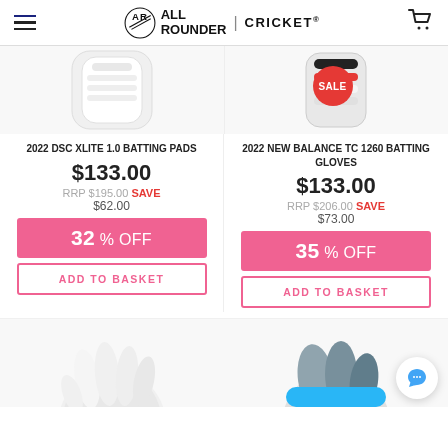All Rounder | Cricket
[Figure (photo): Top portion of 2022 DSC XLite 1.0 Batting Pads (white)]
[Figure (photo): Top portion of 2022 New Balance TC 1260 Batting Gloves with SALE badge overlay]
2022 DSC XLITE 1.0 BATTING PADS
2022 NEW BALANCE TC 1260 BATTING GLOVES
$133.00
$133.00
RRP $195.00 SAVE $62.00
RRP $206.00 SAVE $73.00
32 % OFF
35 % OFF
ADD TO BASKET
ADD TO BASKET
[Figure (photo): Bottom partial image of a white batting glove on the left]
[Figure (photo): Bottom partial image of batting gloves (blue/grey) on the right]